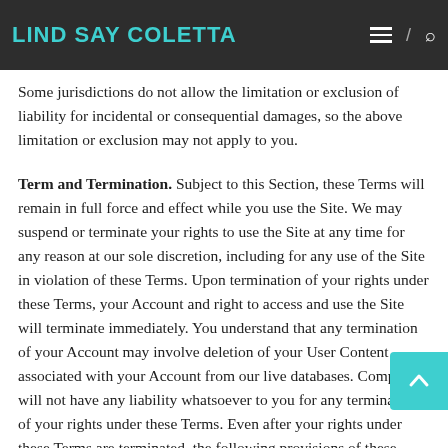LIND SAY COLETTA
Some jurisdictions do not allow the limitation or exclusion of liability for incidental or consequential damages, so the above limitation or exclusion may not apply to you.
Term and Termination. Subject to this Section, these Terms will remain in full force and effect while you use the Site. We may suspend or terminate your rights to use the Site at any time for any reason at our sole discretion, including for any use of the Site in violation of these Terms. Upon termination of your rights under these Terms, your Account and right to access and use the Site will terminate immediately. You understand that any termination of your Account may involve deletion of your User Content associated with your Account from our live databases. Company will not have any liability whatsoever to you for any termination of your rights under these Terms. Even after your rights under these Terms are terminated, the following provisions of these Terms will remain in effect: Sections 2 through 2.5, Section 3 and Sections 4